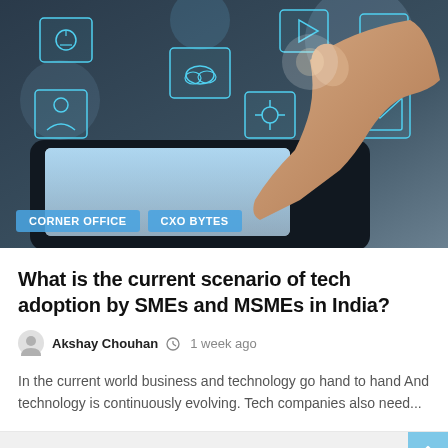[Figure (photo): A hand pointing at floating digital holographic icons above a tablet device, including cloud, email, and user interface icons on a dark tech background]
CORNER OFFICE
CXO BYTES
What is the current scenario of tech adoption by SMEs and MSMEs in India?
Akshay Chouhan   1 week ago
In the current world business and technology go hand to hand And technology is continuously evolving. Tech companies also need...